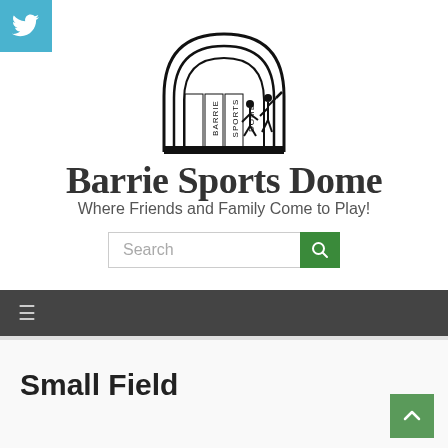[Figure (logo): Twitter bird icon button in teal/blue background, top-left corner]
[Figure (logo): Barrie Sports Dome logo: arched dome shape with silhouettes of sports players and text BARRIE SPORTS DOME on arched columns]
Barrie Sports Dome
Where Friends and Family Come to Play!
[Figure (screenshot): Search input box with green search button]
≡
Small Field
[Figure (other): Green back-to-top arrow button, bottom right]